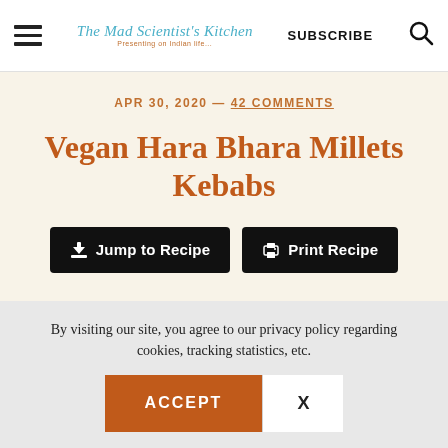The Mad Scientist's Kitchen | SUBSCRIBE
APR 30, 2020 — 42 COMMENTS
Vegan Hara Bhara Millets Kebabs
Jump to Recipe | Print Recipe
By visiting our site, you agree to our privacy policy regarding cookies, tracking statistics, etc.
ACCEPT | X